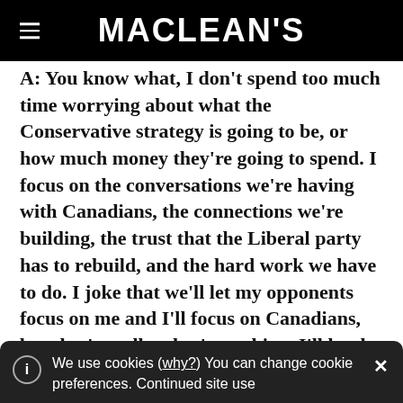MACLEAN'S
A: You know what, I don't spend too much time worrying about what the Conservative strategy is going to be, or how much money they're going to spend. I focus on the conversations we're having with Canadians, the connections we're building, the trust that the Liberal party has to rebuild, and the hard work we have to do. I joke that we'll let my opponents focus on me and I'll focus on Canadians, but that's really what's working. I'll let the
We use cookies (why?) You can change cookie preferences. Continued site use